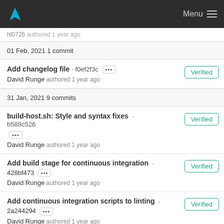Menu
hl0726 authored 1 year ago
01 Feb, 2021 1 commit
Add changelog file · f0ef2f3c ··· David Runge authored 1 year ago — Verified
31 Jan, 2021 9 commits
build-host.sh: Style and syntax fixes · b588c526 ··· David Runge authored 1 year ago — Verified
Add build stage for continuous integration · 428bf473 ··· David Runge authored 1 year ago — Verified
Add continuous integration scripts to linting · 2a244294 ··· David Runge authored 1 year ago — Verified